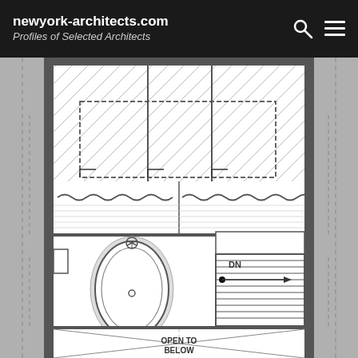newyork-architects.com Profiles of Selected Architects
[Figure (engineering-diagram): Architectural floor plan showing upper level bathroom with freestanding bathtub, shower/closet area with hatching, staircase with DN label and arrow, and open-to-below space with diagonal lines. Dashed lines indicate overhead elements.]